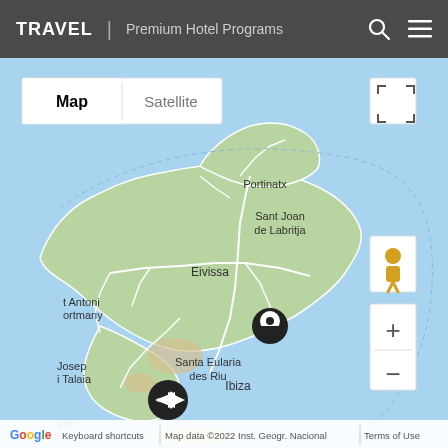TRAVEL | Premium Hotel Programs
[Figure (map): Google Map showing the island of Ibiza, Spain, with place markers at Santa Eularia des Riu and near Ibiza town. Map labels include Portinatx, Sant Joan de Labritja, Eivissa, Santa Eularia des Riu, t Antoni ortmany, Josep i Talaia, Ibiza, ells. Map controls include Map/Satellite toggle, fullscreen button, Street View pegman, and zoom +/- buttons.]
Google  Keyboard shortcuts  |  Map data ©2022 Inst. Geogr. Nacional  |  Terms of Use